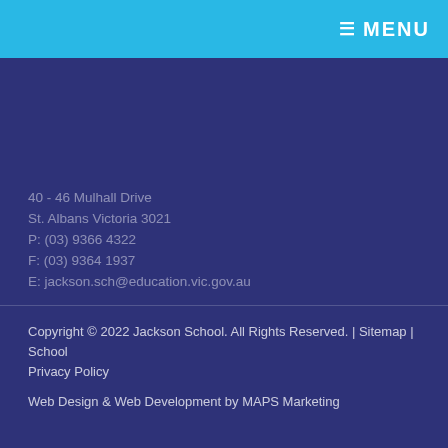≡ MENU
40 - 46 Mulhall Drive
St. Albans Victoria 3021
P: (03) 9366 4322
F: (03) 9364 1937
E: jackson.sch@education.vic.gov.au
Copyright © 2022 Jackson School. All Rights Reserved. | Sitemap | School Privacy Policy

Web Design & Web Development by MAPS Marketing